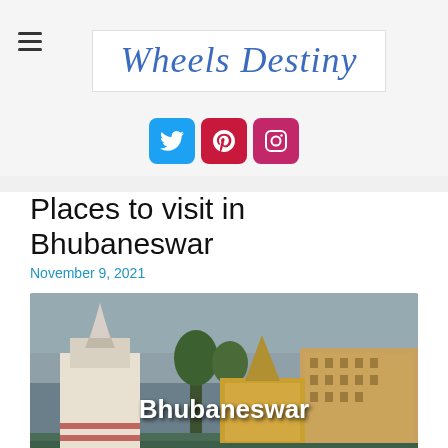Wheels Destiny
[Figure (logo): Wheels Destiny travel blog logo in cursive blue font on white background]
[Figure (infographic): Social media icons: Twitter (blue), Pinterest (red), Instagram (pink)]
Places to visit in Bhubaneswar
November 9, 2021
[Figure (photo): Photo of Bhubaneswar temples and buildings near water with lotus pond in foreground, with text overlay 'Bhubaneswar']